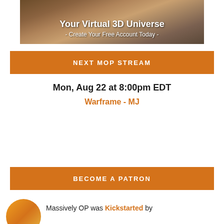[Figure (illustration): A 3D game world banner image showing sandy/stone terrain with text overlay: 'Your Virtual 3D Universe - Create Your Free Account Today -']
NEXT MOP STREAM
Mon, Aug 22 at 8:00pm EDT
Warframe - MJ
BECOME A PATRON
[Figure (logo): Massively OP circular logo in orange/gold tones]
Massively OP was Kickstarted by